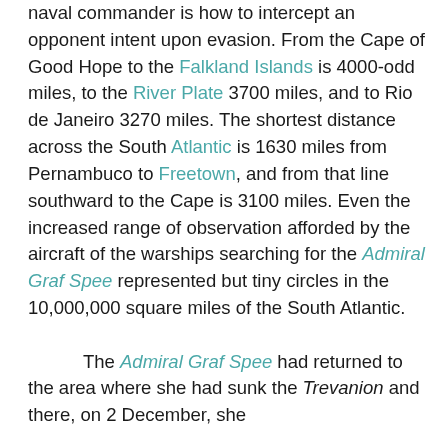naval commander is how to intercept an opponent intent upon evasion. From the Cape of Good Hope to the Falkland Islands is 4000-odd miles, to the River Plate 3700 miles, and to Rio de Janeiro 3270 miles. The shortest distance across the South Atlantic is 1630 miles from Pernambuco to Freetown, and from that line southward to the Cape is 3100 miles. Even the increased range of observation afforded by the aircraft of the warships searching for the Admiral Graf Spee represented but tiny circles in the 10,000,000 square miles of the South Atlantic.
The Admiral Graf Spee had returned to the area where she had sunk the Trevanion and there, on 2 December, she